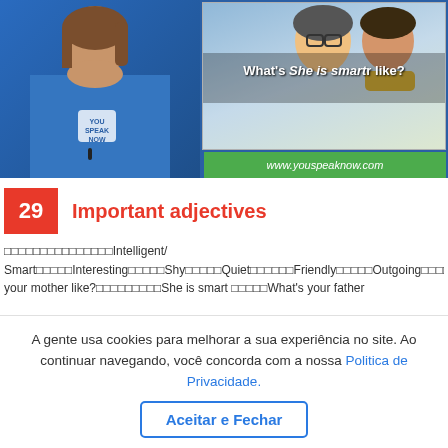[Figure (screenshot): Video thumbnail showing a woman in a blue YSK shirt on the left, and a slide on the right with text 'What's She is smart like?' overlaid, with two children, and a green bar at the bottom reading www.youspeaknow.com]
29  Important adjectives
Intelligent/ Smart  Interesting  Shy  Quiet  Friendly  Outgoing  What's your mother like?  She is smart  What's your father
A gente usa cookies para melhorar a sua experiência no site. Ao continuar navegando, você concorda com a nossa Politica de Privacidade.
Aceitar e Fechar